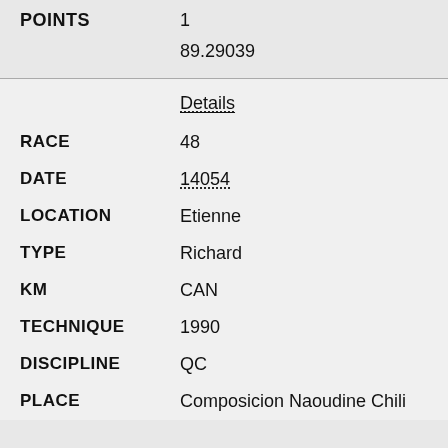| Field | Value |
| --- | --- |
| POINTS | 1 |
|  | 89.29039 |
| Details |  |
| RACE | 48 |
| DATE | 14054 |
| LOCATION | Etienne |
| TYPE | Richard |
| KM | CAN |
| TECHNIQUE | 1990 |
| DISCIPLINE | QC |
| PLACE | Composicion Naoudine Chili... |